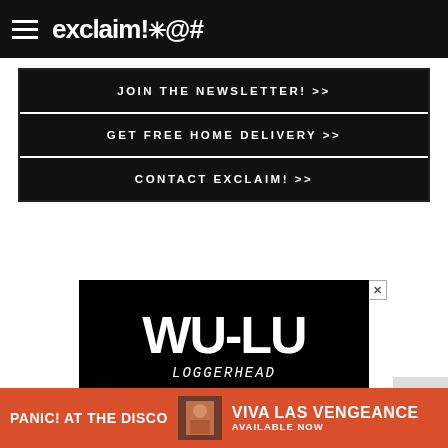exclaim!*@#
JOIN THE NEWSLETTER! >>
GET FREE HOME DELIVERY >>
CONTACT EXCLAIM! >>
[Figure (illustration): WU-LU Loggerhead album advertisement on black background with Warp Records logo]
[Figure (infographic): Panic! At The Disco - Viva Las Vengeance Available Now advertisement banner in red]